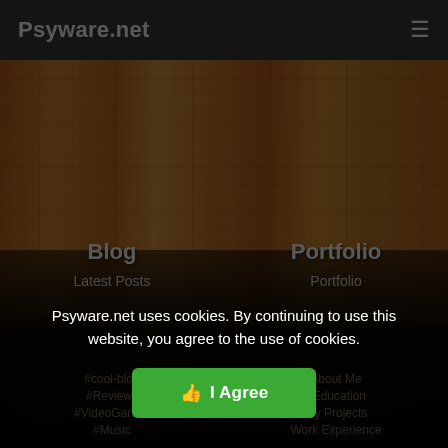Psyware.net
Advertisements
Blog
Latest Posts
Portfolio
Portfolio
Psyware.net uses cookies. By continuing to use this website, you agree to the use of cookies.
I Agree